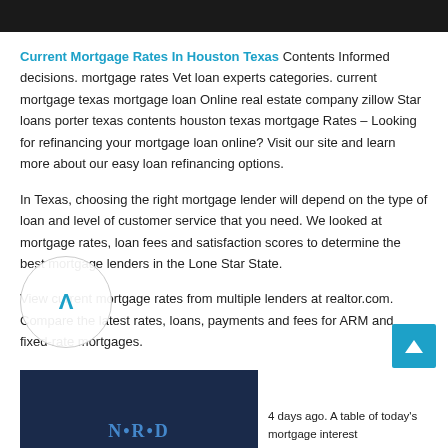[Figure (screenshot): Dark header bar at top of webpage]
Current Mortgage Rates In Houston Texas Contents Informed decisions. mortgage rates Vet loan experts categories. current mortgage texas mortgage loan Online real estate company zillow Star loans porter texas contents houston texas mortgage Rates – Looking for refinancing your mortgage loan online? Visit our site and learn more about our easy loan refinancing options.
In Texas, choosing the right mortgage lender will depend on the type of loan and level of customer service that you need. We looked at mortgage rates, loan fees and satisfaction scores to determine the best mortgage lenders in the Lone Star State.
View current mortgage rates from multiple lenders at realtor.com. Compare the latest rates, loans, payments and fees for ARM and fixed-rate mortgages.
[Figure (screenshot): Bottom image showing a news anchor with NERD branding]
4 days ago. A table of today's mortgage interest